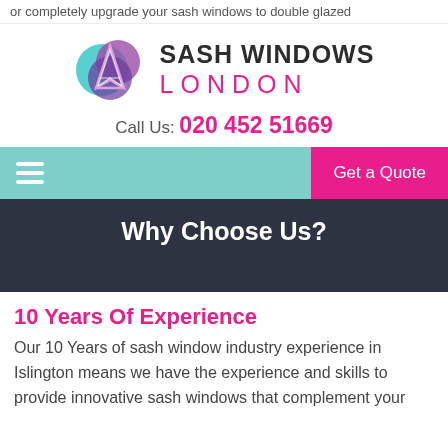or completely upgrade your sash windows to double glazed
[Figure (logo): Sash Windows London logo with circular overlapping teal and purple shapes containing a stylized letter A]
SASH WINDOWS LONDON
Call Us: 020 452 51669
Get a Quote
Why Choose Us?
10 Years Of Experience
Our 10 Years of sash window industry experience in Islington means we have the experience and skills to provide innovative sash windows that complement your